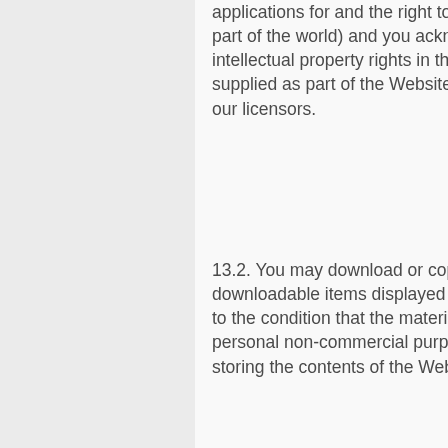applications for and the right to apply for them in any part of the world) and you acknowledge that the intellectual property rights in the material and content supplied as part of the Website shall remain with us or our licensors.
13.2. You may download or copy the content and other downloadable items displayed on the Website subject to the condition that the material may only be used for personal non-commercial purposes. Copying or storing the contents of the Website for